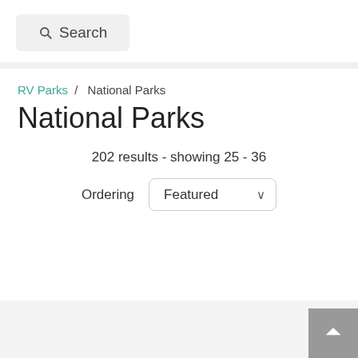[Figure (screenshot): Search button with magnifying glass icon on light gray background]
RV Parks / National Parks
National Parks
202 results - showing 25 - 36
Ordering  Featured
[Figure (screenshot): Gray footer area with scroll-to-top button (caret up icon) in bottom right corner]